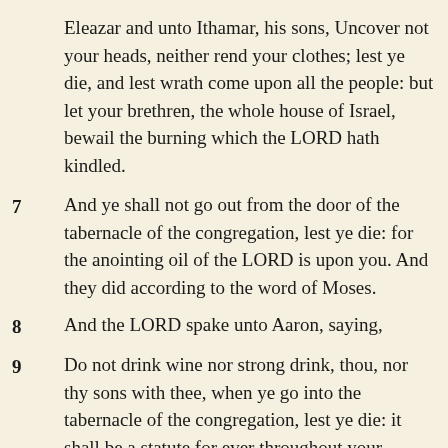Eleazar and unto Ithamar, his sons, Uncover not your heads, neither rend your clothes; lest ye die, and lest wrath come upon all the people: but let your brethren, the whole house of Israel, bewail the burning which the LORD hath kindled.
7   And ye shall not go out from the door of the tabernacle of the congregation, lest ye die: for the anointing oil of the LORD is upon you. And they did according to the word of Moses.
8   And the LORD spake unto Aaron, saying,
9   Do not drink wine nor strong drink, thou, nor thy sons with thee, when ye go into the tabernacle of the congregation, lest ye die: it shall be a statute for ever throughout your generations:
10   And that ye may put difference between